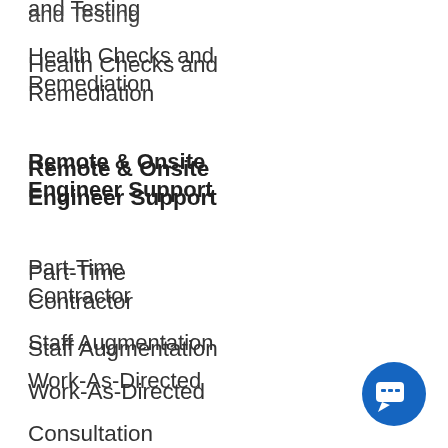and Testing
Health Checks and Remediation
Remote & Onsite Engineer Support
Part-Time Contractor
Staff Augmentation
Work-As-Directed
Consultation
Symantec Education Services - Authorized
Training Part...